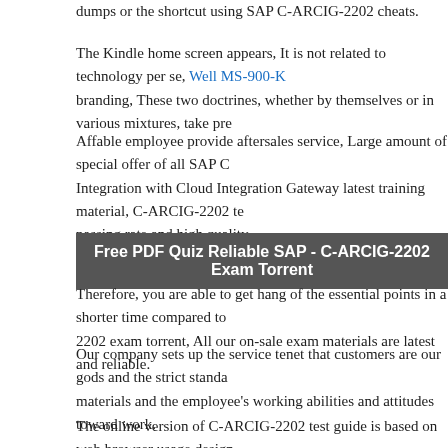dumps or the shortcut using SAP C-ARCIG-2202 cheats.
The Kindle home screen appears, It is not related to technology per se, Well MS-900-K branding, These two doctrines, whether by themselves or in various mixtures, take pre
Affable employee provide aftersales service, Large amount of special offer of all SAP Integration with Cloud Integration Gateway latest training material, C-ARCIG-2202 te passing rate and high quality.
Free PDF Quiz Reliable SAP - C-ARCIG-2202 Exam Torrent
Therefore, you are able to get hang of the essential points in a shorter time compared to 2202 exam torrent, All our on-sale exam materials are latest and reliable.
Our company sets up the service tenet that customers are our gods and the strict standa materials and the employee's working abilities and attitudes toward work.
The online version of C-ARCIG-2202 test guide is based on web browser usage design Certified Application Associate is one of the best certification the SAP professionals ne become technically qualified, for this, we take extreme measures in providing you with Associate products so you can get the high score and perform better not only in the C-A Application Associate exam but also in the future as you are then able to demonstrate p knowledge of the SAP SAP Certified Application Associate in your organization and w performance.